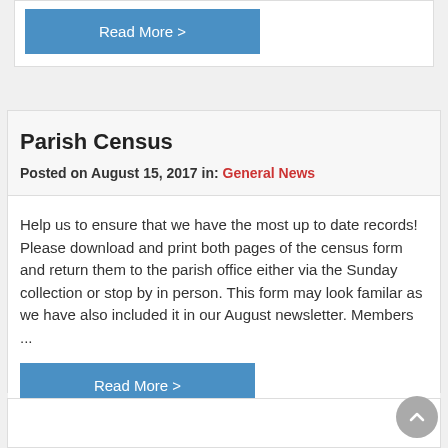Read More >
Parish Census
Posted on August 15, 2017 in: General News
Help us to ensure that we have the most up to date records! Please download and print both pages of the census form and return them to the parish office either via the Sunday collection or stop by in person. This form may look familar as we have also included it in our August newsletter. Members ...
Read More >